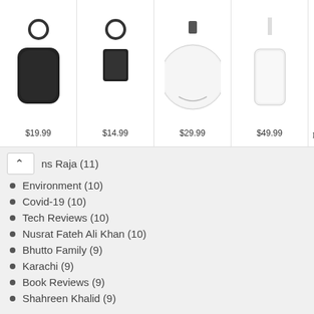[Figure (screenshot): Advertisement banner showing four leather accessories with prices: $19.99, $14.99, $29.99, $49.99, and the NOÉMIE brand logo with a play-button ad icon and close X in top right.]
ns Raja (11)
Environment (10)
Covid-19 (10)
Tech Reviews (10)
Nusrat Fateh Ali Khan (10)
Bhutto Family (9)
Karachi (9)
Book Reviews (9)
Shahreen Khalid (9)
SEARCH KEYWORDS
Search ...